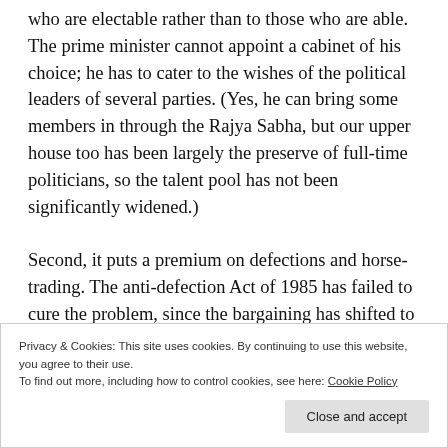who are electable rather than to those who are able. The prime minister cannot appoint a cabinet of his choice; he has to cater to the wishes of the political leaders of several parties. (Yes, he can bring some members in through the Rajya Sabha, but our upper house too has been largely the preserve of full-time politicians, so the talent pool has not been significantly widened.)

Second, it puts a premium on defections and horse-trading. The anti-defection Act of 1985 has failed to cure the problem, since the bargaining has shifted to
Privacy & Cookies: This site uses cookies. By continuing to use this website, you agree to their use.
To find out more, including how to control cookies, see here: Cookie Policy
Close and accept